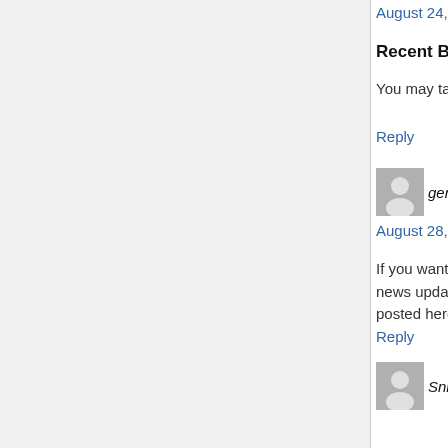August 24, 2021 at 8:32 pm
Recent Blogroll …
You may take a second to go to the content from
Reply
generic apcalis 10 says:
August 28, 2021 at 12:12 am
If you want to improve your know-how only keep news update posted here. http://www.deinformedvoters.org/ta
Reply
Snnsvege says:
August 30, 2021 at 3:58 am
professional cialis online pharmacy cialis compa
Reply
AbwhTrery says:
August 30, 2021 at 4:57 am